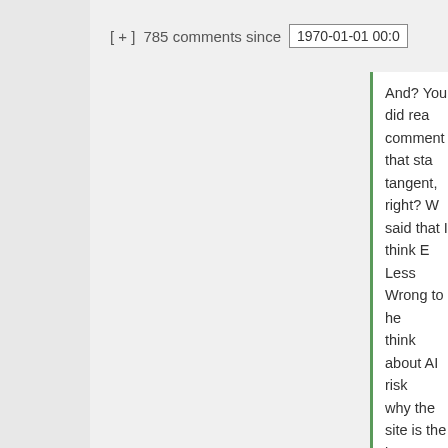[ + ]  785 comments since  1970-01-01 00:0
And? You did rea comment that sta tangent, right? W said that I think E Less Wrong to he think about AI risk why the site is the is?
“There’s nothing a theism simpliciter rules out the poss unfriendly intellige computers. At bes argument justifies excluding only ce